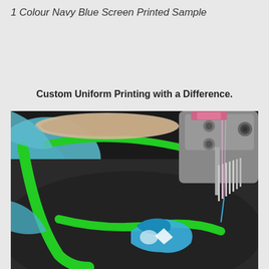1 Colour Navy Blue Screen Printed Sample
Custom Uniform Printing with a Difference.
[Figure (photo): Close-up photograph of an embroidery machine stitching a logo with blue and green thread onto a dark fabric, with a bright green embroidery hoop visible and blue fabric in the background]